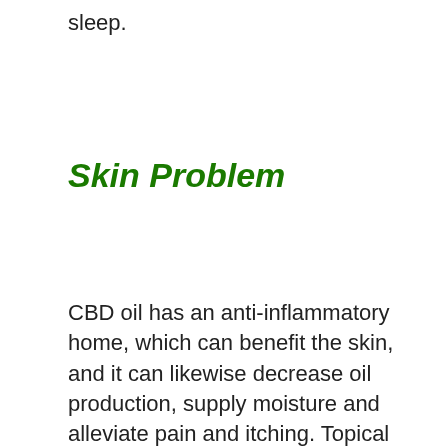sleep.
Skin Problem
CBD oil has an anti-inflammatory home, which can benefit the skin, and it can likewise decrease oil production, supply moisture and alleviate pain and itching. Topical CBD is safe and works effectively for all skin types. The items are simple to administer. Sufferers of major medical skin conditions and those who are looking for